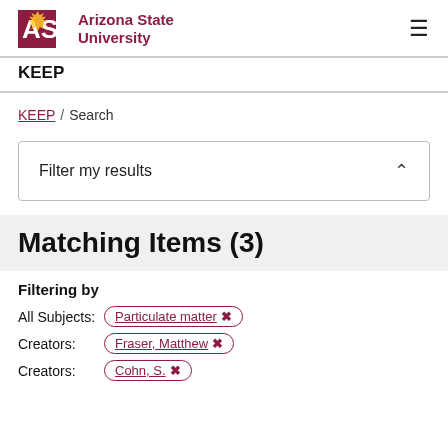ASU Arizona State University | KEEP
KEEP / Search
Filter my results
Matching Items (3)
Filtering by
All Subjects: Particulate matter ✕
Creators: Fraser, Matthew ✕
Creators: Cohn, S. ✕